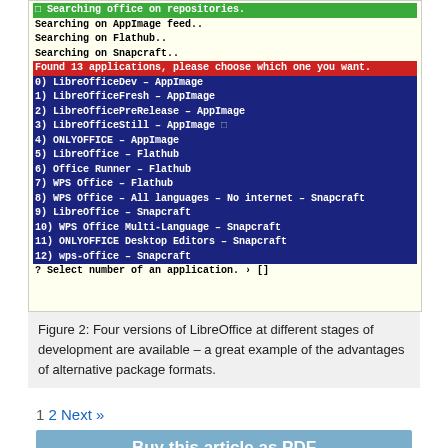[Figure (screenshot): Terminal/CLI screenshot showing a search for 'office' on repositories, listing 13 applications from AppImage, Flathub, and Snapcraft sources including LibreOffice variants, ONLYOFFICE, Office Runner, WPS Office, with a prompt to select an application number.]
Figure 2: Four versions of LibreOffice at different stages of development are available – a great example of the advantages of alternative package formats.
1 2 Next »
Buy this article as PDF
Express-Checkout as PDF